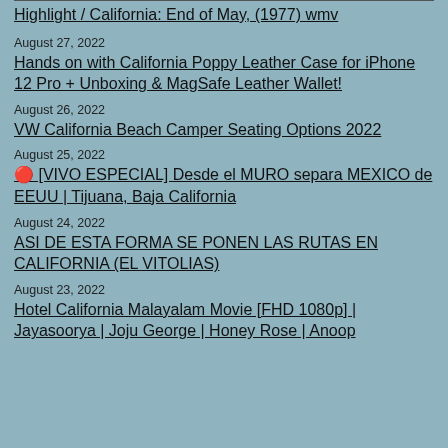Highlight / California: End of May, (1977) wmv
August 27, 2022
Hands on with California Poppy Leather Case for iPhone 12 Pro + Unboxing & MagSafe Leather Wallet!
August 26, 2022
VW California Beach Camper Seating Options 2022
August 25, 2022
🔴 [VIVO ESPECIAL] Desde el MURO separa MEXICO de EEUU | Tijuana, Baja California
August 24, 2022
ASI DE ESTA FORMA SE PONEN LAS RUTAS EN CALIFORNIA (EL VITOLIAS)
August 23, 2022
Hotel California Malayalam Movie [FHD 1080p] | Jayasoorya | Joju George | Honey Rose | Anoop